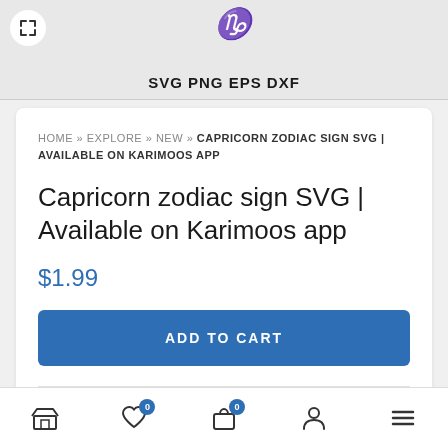[Figure (screenshot): Top banner showing partial product image with red decorative text/logo elements and text 'SVG PNG EPS DXF' in bold black letters. An expand icon button is visible in top-left corner.]
HOME » EXPLORE » NEW » CAPRICORN ZODIAC SIGN SVG | AVAILABLE ON KARIMOOS APP
Capricorn zodiac sign SVG | Available on Karimoos app
$1.99
ADD TO CART
Categories: Free Designs , Free SVG , New , SVG Cut , Trending
[Figure (screenshot): Bottom navigation bar with 5 icons: store/shop icon, heart/wishlist icon with badge '0', shopping bag icon with badge '0', user/person icon, and hamburger menu icon.]